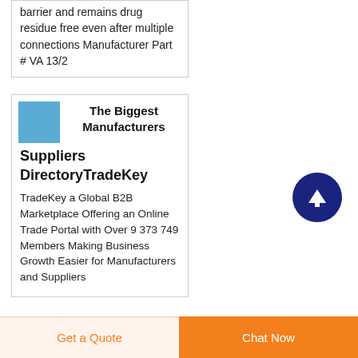barrier and remains drug residue free even after multiple connections Manufacturer Part # VA 13/2
[Figure (illustration): Small blue square thumbnail image]
The Biggest Manufacturers Suppliers DirectoryTradeKey
TradeKey a Global B2B Marketplace Offering an Online Trade Portal with Over 9 373 749 Members Making Business Growth Easier for Manufacturers and Suppliers
[Figure (illustration): Dark blue circular button with upward arrow icon]
Get a Quote
Chat Now